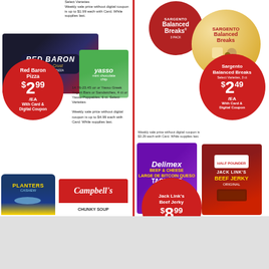Select Varieties
Weekly sale price without digital coupon is up to $1.99 each with Card. While supplies last.
[Figure (photo): Red Baron Classic Crust Pepperoni Pizza box and Yasso Greek Yogurt bar package]
[Figure (infographic): Red Baron Pizza price bubble: $2.99/EA With Card & Digital Coupon]
14.76-23.45 oz or Yasso Greek Yogurt Bars or Sandwiches, 4 ct or Yasso Poppables, 6 ct. Select Varieties
Weekly sale price without digital coupon is up to $4.99 each with Card. While supplies last.
[Figure (photo): Planters Cashew can and Campbell's soup can]
[Figure (photo): Sargento Balanced Breaks 3-pack product photos]
[Figure (infographic): Sargento Balanced Breaks price bubble: $2.49/EA With Card & Digital Coupon, Select Varieties, 3 ct]
Weekly sale price without digital coupon is $3.29 each with Card. While supplies last.
[Figure (photo): Delimex Beef & Cheese Taquitos box and Jack Link's Beef Jerky Original bag]
[Figure (infographic): Jack Link's Beef Jerky price bubble: $8.99]